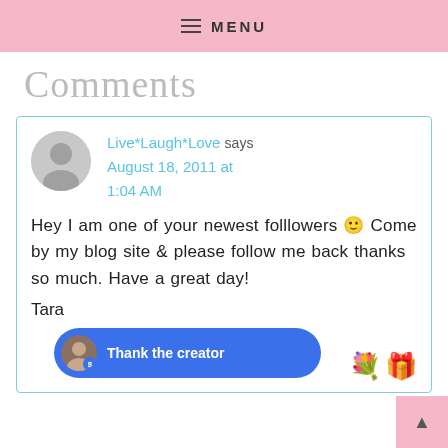MENU
Comments
Live*Laugh*Love says
August 18, 2011 at 1:04 AM
Hey I am one of your newest folllowers 🙂 Come by my blog site & please follow me back thanks so much. Have a great day!
Tara